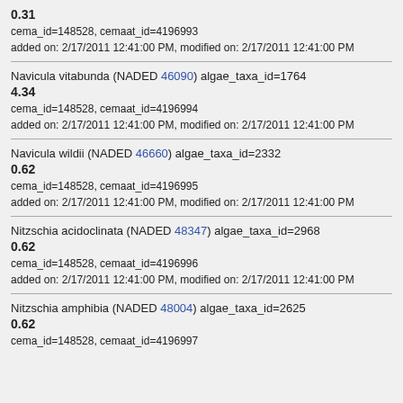0.31
cema_id=148528, cemaat_id=4196993
added on: 2/17/2011 12:41:00 PM, modified on: 2/17/2011 12:41:00 PM
Navicula vitabunda (NADED 46090) algae_taxa_id=1764
4.34
cema_id=148528, cemaat_id=4196994
added on: 2/17/2011 12:41:00 PM, modified on: 2/17/2011 12:41:00 PM
Navicula wildii (NADED 46660) algae_taxa_id=2332
0.62
cema_id=148528, cemaat_id=4196995
added on: 2/17/2011 12:41:00 PM, modified on: 2/17/2011 12:41:00 PM
Nitzschia acidoclinata (NADED 48347) algae_taxa_id=2968
0.62
cema_id=148528, cemaat_id=4196996
added on: 2/17/2011 12:41:00 PM, modified on: 2/17/2011 12:41:00 PM
Nitzschia amphibia (NADED 48004) algae_taxa_id=2625
0.62
cema_id=148528, cemaat_id=4196997